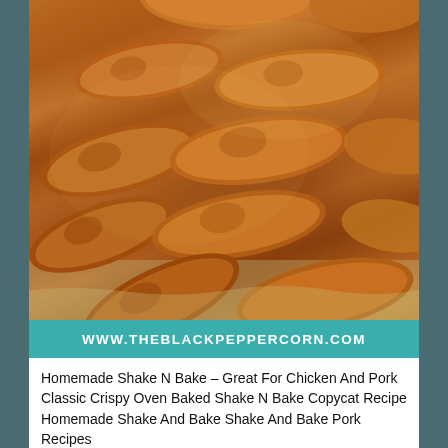[Figure (photo): Breaded pork chops coated in seasoned crumb mixture arranged on a foil-lined baking sheet, ready to be baked. The chops are densely coated with an orange-brown spiced breading.]
WWW.THEBLACKPEPPERCORN.COM
Homemade Shake N Bake – Great For Chicken And Pork Classic Crispy Oven Baked Shake N Bake Copycat Recipe Homemade Shake And Bake Shake And Bake Pork Recipes